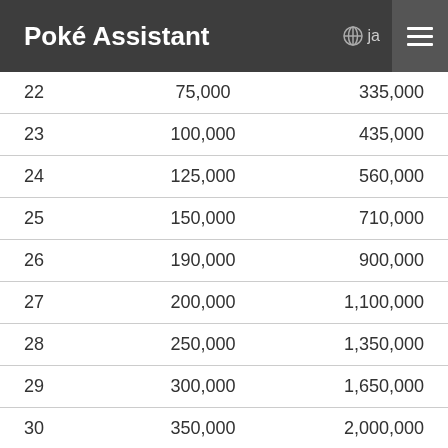Poké Assistant  ja
| 22 | 75,000 | 335,000 |
| 23 | 100,000 | 435,000 |
| 24 | 125,000 | 560,000 |
| 25 | 150,000 | 710,000 |
| 26 | 190,000 | 900,000 |
| 27 | 200,000 | 1,100,000 |
| 28 | 250,000 | 1,350,000 |
| 29 | 300,000 | 1,650,000 |
| 30 | 350,000 | 2,000,000 |
| 31 | 500,000 | 2,500,000 |
| 32 | 500,000 | 3,000,000 |